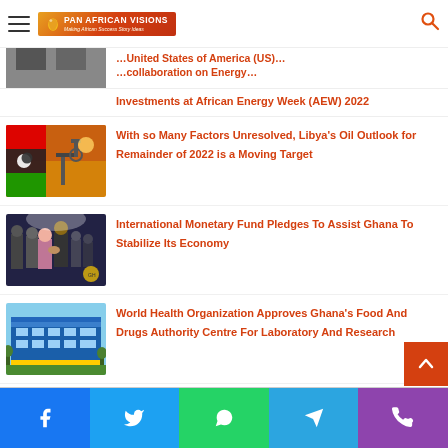Pan African Visions - Making African Success Story Ideas
[Figure (screenshot): Partial article image at top with headline text partially visible about United States of America and energy collaboration]
Investments at African Energy Week (AEW) 2022
[Figure (photo): Libya flag and oil pump jack at sunset]
With so Many Factors Unresolved, Libya's Oil Outlook for Remainder of 2022 is a Moving Target
[Figure (photo): IMF official shaking hands with Ghana official at press conference]
International Monetary Fund Pledges To Assist Ghana To Stabilize Its Economy
[Figure (photo): Aerial view of Ghana Food and Drugs Authority Centre building]
World Health Organization Approves Ghana's Food And Drugs Authority Centre For Laboratory And Research